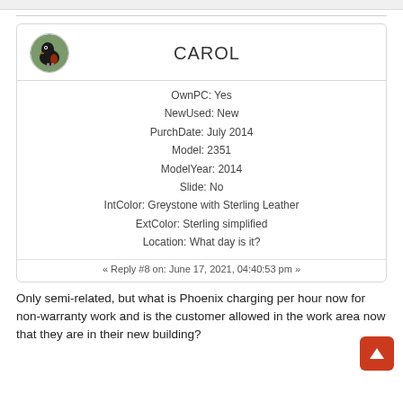CAROL
OwnPC: Yes
NewUsed: New
PurchDate: July 2014
Model: 2351
ModelYear: 2014
Slide: No
IntColor: Greystone with Sterling Leather
ExtColor: Sterling simplified
Location: What day is it?
« Reply #8 on: June 17, 2021, 04:40:53 pm »
Only semi-related, but what is Phoenix charging per hour now for non-warranty work and is the customer allowed in the work area now that they are in their new building?